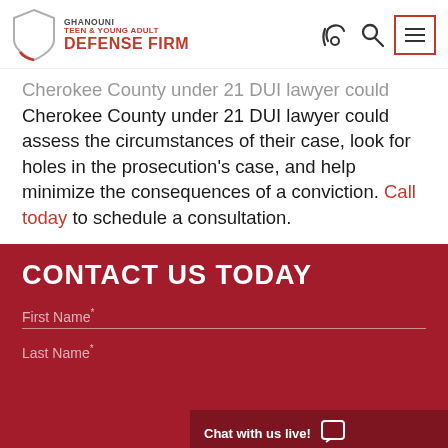[Figure (logo): Ghanouni Teen & Young Adult Defense Firm logo with shield icon]
Cherokee County under 21 DUI lawyer could assess the circumstances of their case, look for holes in the prosecution's case, and help minimize the consequences of a conviction. Call today to schedule a consultation.
CONTACT US TODAY
First Name*
Last Name*
Chat with us live!